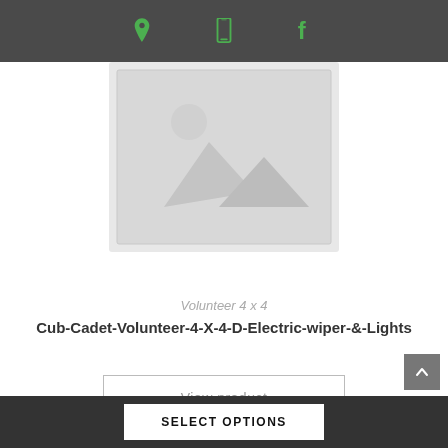Header bar with location, phone, and facebook icons
[Figure (illustration): Placeholder product image — grey rectangle with mountain/landscape silhouette outline in lighter grey]
Volunteer 4 x 4
Cub-Cadet-Volunteer-4-X-4-D-Electric-wiper-&-Lights
View product
SELECT OPTIONS